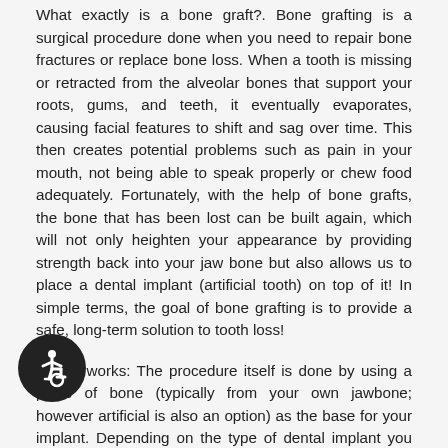What exactly is a bone graft?. Bone grafting is a surgical procedure done when you need to repair bone fractures or replace bone loss. When a tooth is missing or retracted from the alveolar bones that support your roots, gums, and teeth, it eventually evaporates, causing facial features to shift and sag over time. This then creates potential problems such as pain in your mouth, not being able to speak properly or chew food adequately. Fortunately, with the help of bone grafts, the bone that has been lost can be built again, which will not only heighten your appearance by providing strength back into your jaw bone but also allows us to place a dental implant (artificial tooth) on top of it! In simple terms, the goal of bone grafting is to provide a safe, long-term solution to tooth loss!
How it works: The procedure itself is done by using a piece of bone (typically from your own jawbone; however artificial is also an option) as the base for your implant. Depending on the type of dental implant you plan on receiving, and the condition of your jawbone, the process of recovery can take
[Figure (illustration): Accessibility icon — white wheelchair symbol on a dark circular background, positioned bottom-left]